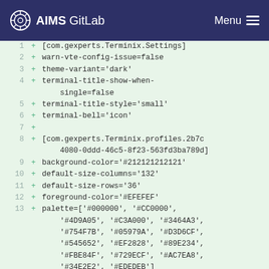AIMS GitLab  Menu
1  + [com.gexperts.Terminix.Settings]
2  + warn-vte-config-issue=false
3  + theme-variant='dark'
4  + terminal-title-show-when-single=false
5  + terminal-title-style='small'
6  + terminal-bell='icon'
7  +
8  + [com.gexperts.Terminix.profiles.2b7c4080-0ddd-46c5-8f23-563fd3ba789d]
9  + background-color='#212121212121'
10 + default-size-columns='132'
11 + default-size-rows='36'
12 + foreground-color='#EFEFEF'
13 + palette=['#000000', '#CC0000', '#4D9A05', '#C3A000', '#3464A3', '#754F7B', '#05979A', '#D3D6CF', '#545652', '#EF2828', '#89E234', '#FBE84F', '#729ECF', '#AC7EA8', '#34E2E2', '#EDEDEB']